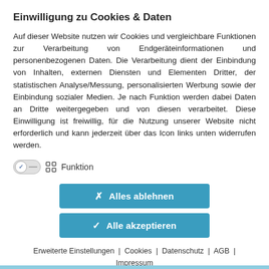Einwilligung zu Cookies & Daten
Auf dieser Website nutzen wir Cookies und vergleichbare Funktionen zur Verarbeitung von Endgeräteinformationen und personenbezogenen Daten. Die Verarbeitung dient der Einbindung von Inhalten, externen Diensten und Elementen Dritter, der statistischen Analyse/Messung, personalisierten Werbung sowie der Einbindung sozialer Medien. Je nach Funktion werden dabei Daten an Dritte weitergegeben und von diesen verarbeitet. Diese Einwilligung ist freiwillig, für die Nutzung unserer Website nicht erforderlich und kann jederzeit über das Icon links unten widerrufen werden.
Funktion
[Figure (other): Toggle switch (enabled) with grid/function icon and label Funktion]
Alles ablehnen
Alle akzeptieren
Erweiterte Einstellungen | Cookies | Datenschutz | AGB | Impressum
powered by +